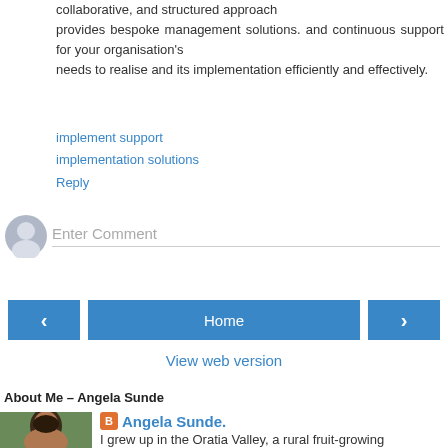collaborative, and structured approach provides bespoke management solutions. and continuous support for your organisation's needs to realise and its implementation efficiently and effectively.
implement support
implementation solutions
Reply
Enter Comment
Home
View web version
About Me – Angela Sunde
[Figure (photo): Portrait photo of Angela Sunde, a woman with dark hair]
Angela Sunde.
I grew up in the Oratia Valley, a rural fruit-growing